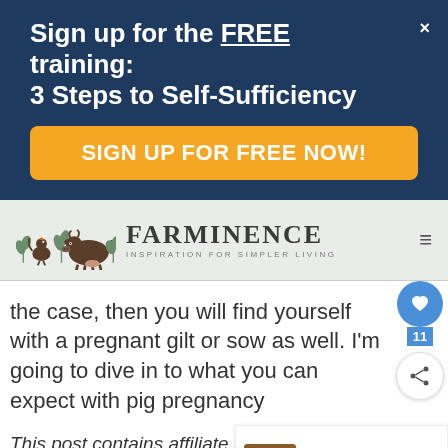Sign up for the FREE training: 3 Steps to Self-Sufficiency
SIGN UP FOR FREE NOW!
[Figure (logo): Farminence logo with farm animals (cow, chicken) and text FARMINENCE - Inspiration for Simpler Living]
the case, then you will find yourself with a pregnant gilt or sow as well.  I'm going to dive in to what you can expect with pig pregnancy
This post contains affiliate links. To view our affiliate disclaimer, click here.
WHAT'S NEXT → Meat Pig Breeds
[Figure (infographic): Ad bar: Dine-in, Curbside pickup with food icon]
it ca... about.